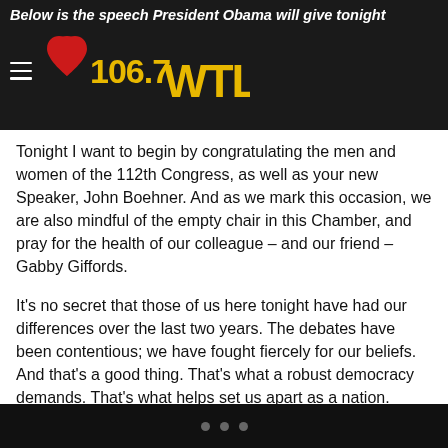Below is the speech President Obama will give tonight
[Figure (logo): 106.7 WTLC radio station logo with red heart graphic]
Tonight I want to begin by congratulating the men and women of the 112th Congress, as well as your new Speaker, John Boehner. And as we mark this occasion, we are also mindful of the empty chair in this Chamber, and pray for the health of our colleague – and our friend – Gabby Giffords.
It's no secret that those of us here tonight have had our differences over the last two years. The debates have been contentious; we have fought fiercely for our beliefs. And that's a good thing. That's what a robust democracy demands. That's what helps set us apart as a nation.